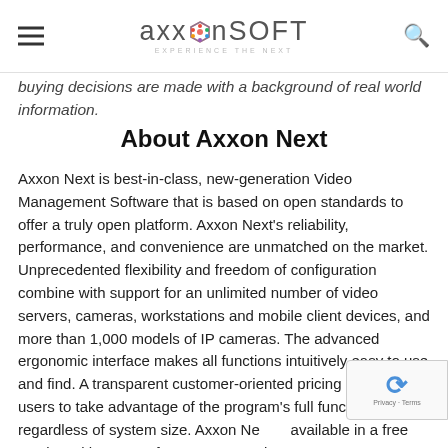AxxonSoft — Experience the Next
buying decisions are made with a background of real world information.
About Axxon Next
Axxon Next is best-in-class, new-generation Video Management Software that is based on open standards to offer a truly open platform. Axxon Next's reliability, performance, and convenience are unmatched on the market. Unprecedented flexibility and freedom of configuration combine with support for an unlimited number of video servers, cameras, workstations and mobile client devices, and more than 1,000 models of IP cameras. The advanced ergonomic interface makes all functions intuitively easy to use and find. A transparent customer-oriented pricing policy allows users to take advantage of the program's full functionality, regardless of system size. Axxon Next is available in a free version with support for 16 connected